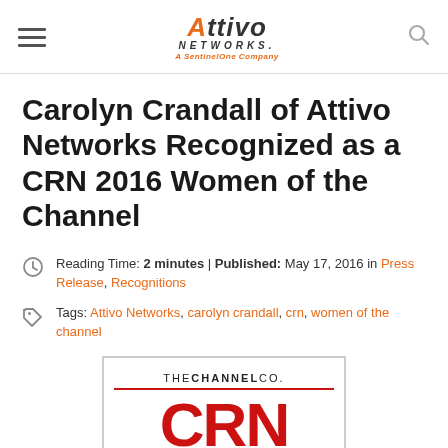Attivo Networks. A SentinelOne Company
Carolyn Crandall of Attivo Networks Recognized as a CRN 2016 Women of the Channel
Reading Time: 2 minutes | Published: May 17, 2016 in Press Release, Recognitions
Tags: Attivo Networks, carolyn crandall, crn, women of the channel
[Figure (logo): THE CHANNEL CO. CRN logo with red CRN letters and two red horizontal rules]